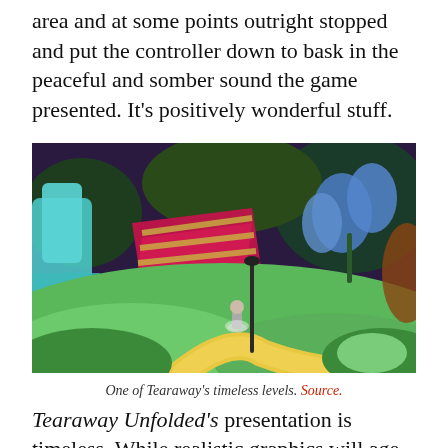area and at some points outright stopped and put the controller down to bask in the peaceful and somber sound the game presented. It's positively wonderful stuff.
[Figure (screenshot): A colourful game screenshot from Tearaway Unfolded showing a stylised paper-craft world with a green landscape, a path, a small character, large decorative flowers and geometric shapes in purples, reds and greens.]
One of Tearaway's timeless levels. Source.
Tearaway Unfolded's presentation is timeless. While realistic graphics will age over time, the